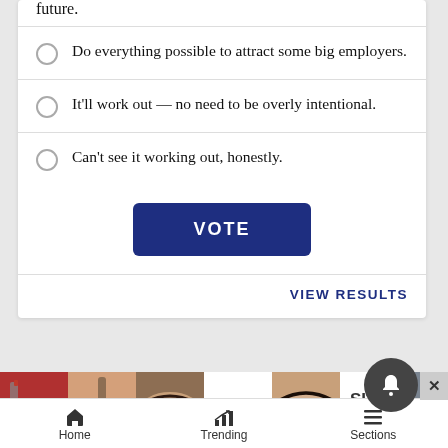future.
Do everything possible to attract some big employers.
It'll work out — no need to be overly intentional.
Can't see it working out, honestly.
VOTE
VIEW RESULTS
[Figure (photo): Ulta Beauty advertisement banner showing makeup and beauty images with SHOP NOW call to action]
Home  Trending  Sections